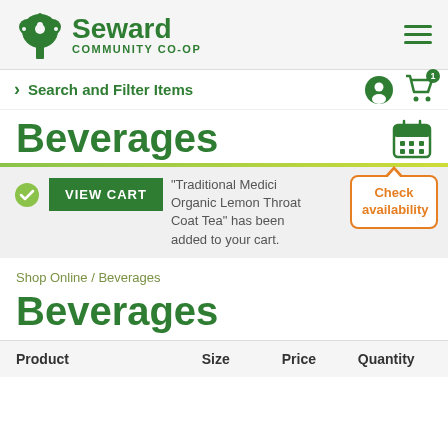Seward Community Co-op
Search and Filter Items
Beverages
"Traditional Medici… Organic Lemon Throat Coat Tea" has been added to your cart.
Check availability
Shop Online / Beverages
Beverages
| Product | Size | Price | Quantity |
| --- | --- | --- | --- |